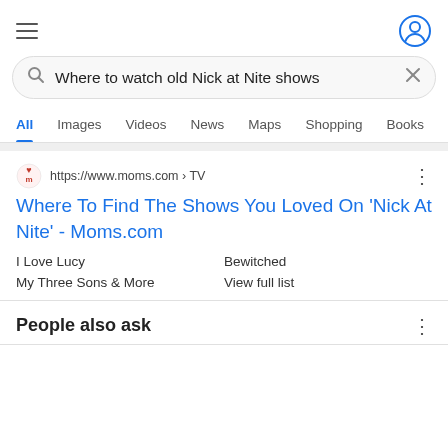[Figure (screenshot): Google search results page for 'Where to watch old Nick at Nite shows']
Where to watch old Nick at Nite shows
All  Images  Videos  News  Maps  Shopping  Books
https://www.moms.com › TV
Where To Find The Shows You Loved On 'Nick At Nite' - Moms.com
I Love Lucy
Bewitched
My Three Sons & More
View full list
People also ask